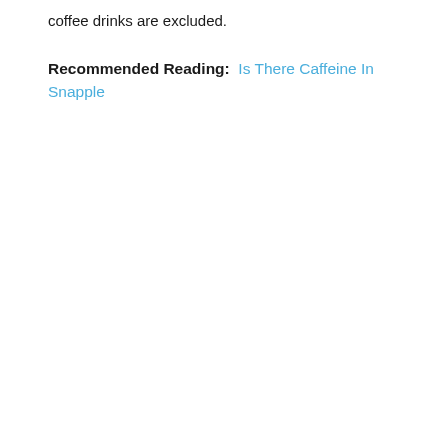coffee drinks are excluded.
Recommended Reading:  Is There Caffeine In Snapple